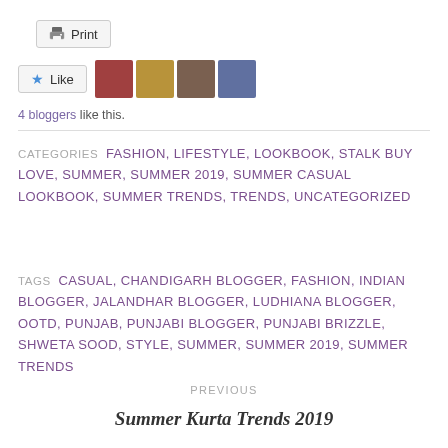Print
[Figure (photo): Like button with star icon and four blogger thumbnail photos]
4 bloggers like this.
CATEGORIES  FASHION, LIFESTYLE, LOOKBOOK, STALK BUY LOVE, SUMMER, SUMMER 2019, SUMMER CASUAL LOOKBOOK, SUMMER TRENDS, TRENDS, UNCATEGORIZED
TAGS  CASUAL, CHANDIGARH BLOGGER, FASHION, INDIAN BLOGGER, JALANDHAR BLOGGER, LUDHIANA BLOGGER, OOTD, PUNJAB, PUNJABI BLOGGER, PUNJABI BRIZZLE, SHWETA SOOD, STYLE, SUMMER, SUMMER 2019, SUMMER TRENDS
PREVIOUS
Summer Kurta Trends 2019